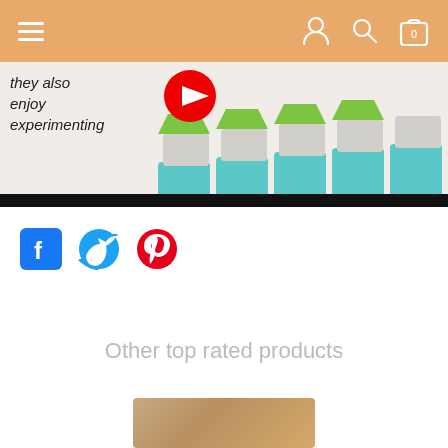Navigation bar with hamburger menu, user, search, and cart icons
[Figure (photo): Colorful wooden toy blocks (teal, green, white) stacked in ascending staircase pattern with red YouTube play button overlay. Text reads 'they also enjoy experimenting']
[Figure (infographic): Social share icons: Facebook, Twitter, Pinterest]
Other top rated products
[Figure (photo): Partial product image visible at bottom of page]